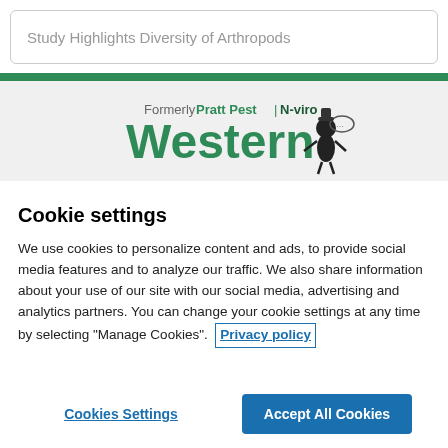Study Highlights Diversity of Arthropods
[Figure (logo): Western Pest Services logo — 'Formerly Pratt Pest | N-viro' above 'Western' in large green text with a cartoon pest control figure]
Cookie settings
We use cookies to personalize content and ads, to provide social media features and to analyze our traffic. We also share information about your use of our site with our social media, advertising and analytics partners. You can change your cookie settings at any time by selecting "Manage Cookies". Privacy policy
Cookies Settings
Accept All Cookies